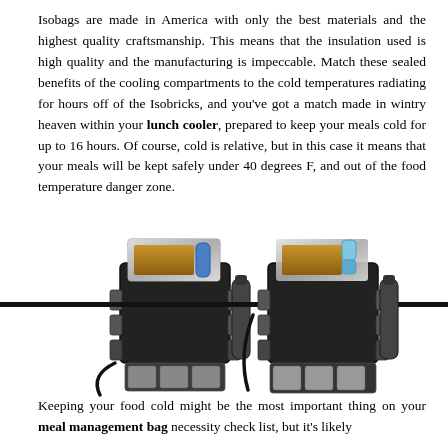Isobags are made in America with only the best materials and the highest quality craftsmanship. This means that the insulation used is high quality and the manufacturing is impeccable. Match these sealed benefits of the cooling compartments to the cold temperatures radiating for hours off of the Isobricks, and you've got a match made in wintry heaven within your lunch cooler, prepared to keep your meals cold for up to 16 hours. Of course, cold is relative, but in this case it means that your meals will be kept safely under 40 degrees F, and out of the food temperature danger zone.
[Figure (photo): Two black insulated meal management cooler bags side by side, shown open with food containers and a water bottle, with multiple compartments visible. A thick black horizontal bar/divider crosses the middle of the image.]
Keeping your food cold might be the most important thing on your meal management bag necessity check list, but it's likely